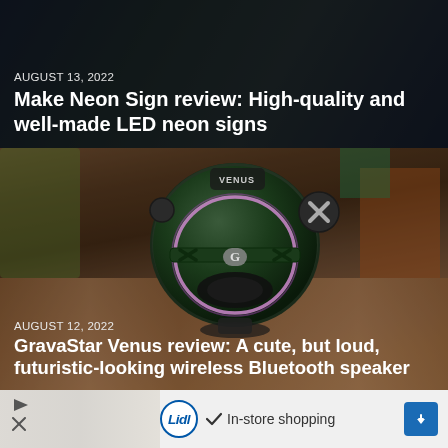AUGUST 13, 2022
Make Neon Sign review: High-quality and well-made LED neon signs
[Figure (photo): GravaStar Venus Bluetooth speaker, a round futuristic dark green and black speaker with a glowing purple ring around the speaker cone, sitting on a wooden surface with a colorful wooden wall background. VENUS branding visible on top.]
AUGUST 12, 2022
GravaStar Venus review: A cute, but loud, futuristic-looking wireless Bluetooth speaker
[Figure (screenshot): Advertisement banner showing Lidl logo (blue circle with Lidl text), a checkmark icon, 'In-store shopping' text, and a blue navigation arrow diamond icon on the right.]